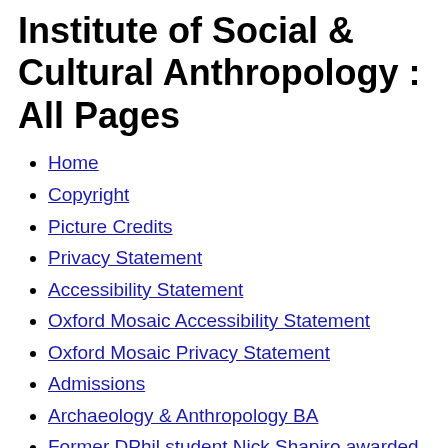Institute of Social & Cultural Anthropology : All Pages
Home
Copyright
Picture Credits
Privacy Statement
Accessibility Statement
Oxford Mosaic Accessibility Statement
Oxford Mosaic Privacy Statement
Admissions
Archaeology & Anthropology BA
Former DPhil student Nick Shapiro awarded the 2016 Cultural Horizons Prize for the best article in Cultural Anthropology
Funding
MSc and MPhil Courses